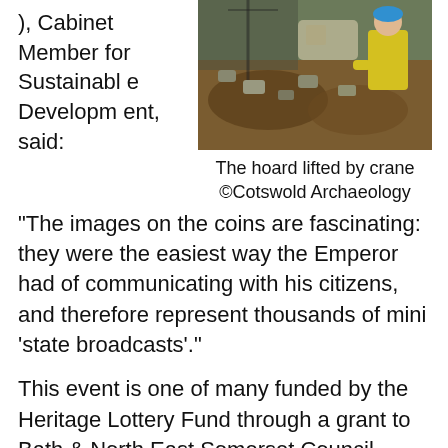), Cabinet Member for Sustainable Development, said:
[Figure (photo): Archaeologists working at an excavation site, one worker in a yellow hi-vis jacket visible, with soil and rubble around them, the hoard being lifted by crane.]
The hoard lifted by crane ©Cotswold Archaeology
“The images on the coins are fascinating: they were the easiest way the Emperor had of communicating with his citizens, and therefore represent thousands of mini ‘state broadcasts’.”
This event is one of many funded by the Heritage Lottery Fund through a grant to Bath & North East Somerset Council enabling the public to learn more about the Hoard.
For more information please visit